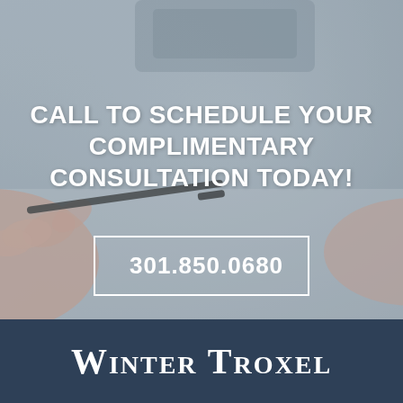[Figure (photo): Blurred background photo of hands with a pen writing or signing a document on a desk, with a grey/blue-grey tone overlay]
CALL TO SCHEDULE YOUR COMPLIMENTARY CONSULTATION TODAY!
301.850.0680
WINTER TROXEL